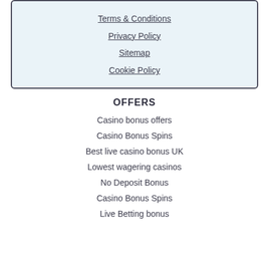Terms & Conditions
Privacy Policy
Sitemap
Cookie Policy
OFFERS
Casino bonus offers
Casino Bonus Spins
Best live casino bonus UK
Lowest wagering casinos
No Deposit Bonus
Casino Bonus Spins
Live Betting bonus